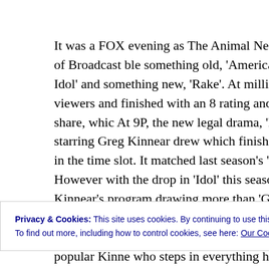It was a FOX evening as The Animal Network of Broadcast ble something old, 'American Idol' and something new, 'Rake'. At million viewers and finished with an 8 rating and 12 share, whic At 9P, the new legal drama, 'Rake', starring Greg Kinnear drew which finished #2 in the time slot. It matched last season's 'Gle However with the drop in 'Idol' this season, Kinnear's program drawing more than 'Glee'. And that is a shame. This is one of th network has presented this season. First, the very popular Kinne who steps in everything he touches. That's not good. But he han endears the character. And the lawyer is no bafoon. When he is quick and sharp. So much so you look forward to seeing what w this: He's at a bar, gets beaten up in the men's room, meets a gir
Privacy & Cookies: This site uses cookies. By continuing to use this website, you agree to their use. To find out more, including how to control cookies, see here: Our Cookie Policy